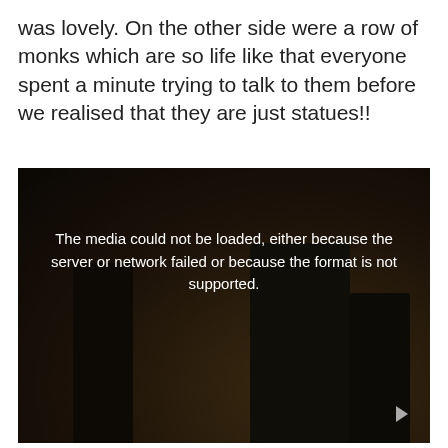was lovely. On the other side were a row of monks which are so life like that everyone spent a minute trying to talk to them before we realised that they are just statues!!
[Figure (screenshot): Dark video player showing a dimly lit scene with silhouettes, displaying a media error message: 'The media could not be loaded, either because the server or network failed or because the format is not supported.' A play/pause triangle button is visible at the bottom right.]